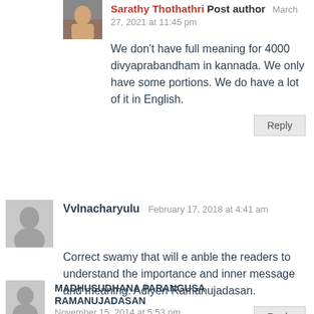Sarathy Thothathri Post author  March 27, 2021 at 11:45 pm
We don't have full meaning for 4000 divyaprabandham in kannada. We only have some portions. We do have a lot of it in English.
Reply
Vvlnacharyulu  February 17, 2018 at 4:41 am
Correct swamy that will e anble the readers to understand the importance and inner message and meaning. Adiyen Ramanujadasan.
Reply
MADHUSUDHANA PARANGUSA RAMANUJADASAN  November 15, 2014 at 5:53 pm